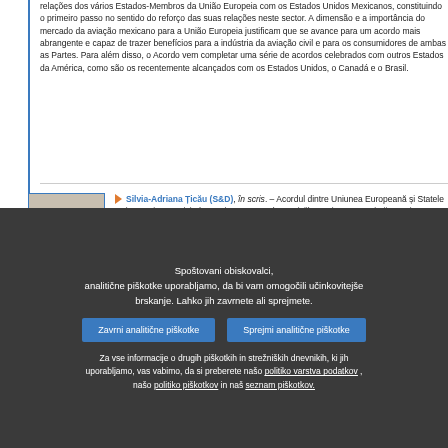relações dos vários Estados-Membros da União Europeia com os Estados Unidos Mexicanos, constituindo o primeiro passo no sentido do reforço das suas relações neste sector. A dimensão e a importância do mercado da aviação mexicano para a União Europeia justificam que se avance para um acordo mais abrangente e capaz de trazer benefícios para a indústria da aviação civil e para os consumidores de ambas as Partes. Para além disso, o Acordo vem completar uma série de acordos celebrados com outros Estados da América, como são os recentemente alcançados com os Estados Unidos, o Canadá e o Brasil.
[Figure (photo): Portrait photo of Silvia-Adriana Ticau, a woman in professional attire]
Silvia-Adriana Țicău (S&D), în scris. – Acordul dintre Uniunea Europeană și Statele Unite Mexicane privind anumite aspecte ale serviciilor aeriene reprezintă un prim pas important în consolidarea relațiilor aviatice dintre UE și Mexic. Acordul înlocuiește anumite
Spoštovani obiskovalci,
analitične piškotke uporabljamo, da bi vam omogočili učinkovitejše brskanje. Lahko jih zavrnete ali sprejmete.
Zavrni analitične piškotke
Sprejmi analitične piškotke
Za vse informacije o drugih piškotkih in strežniških dnevnikih, ki jih uporabljamo, vas vabimo, da si preberete našo politiko varstva podatkov , našo politiko piškotkov in naš seznam piškotkov.